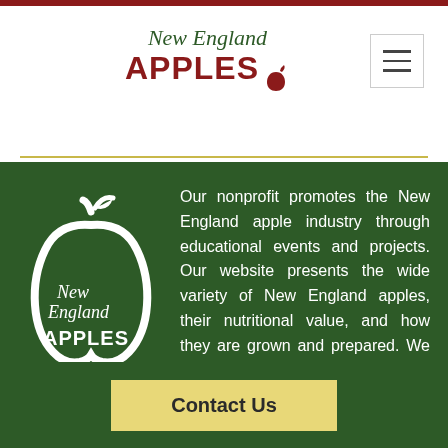New England APPLES
[Figure (logo): New England Apples logo — white apple outline with leaf and stem, with italic 'New England' and bold 'APPLES' text on dark green background]
Our nonprofit promotes the New England apple industry through educational events and projects. Our website presents the wide variety of New England apples, their nutritional value, and how they are grown and prepared. We support organizations with related agricultural goals.
Contact Us